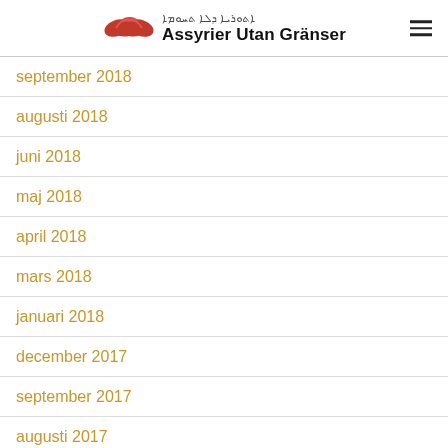Assyrier Utan Gränser
september 2018
augusti 2018
juni 2018
maj 2018
april 2018
mars 2018
januari 2018
december 2017
september 2017
augusti 2017